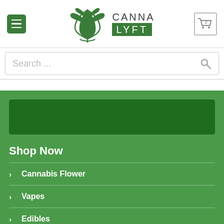[Figure (logo): CannaLyft logo with cannabis leaf icon and green LYFT text badge]
Search ...
Shop Now
Cannabis Flower
Vapes
Edibles